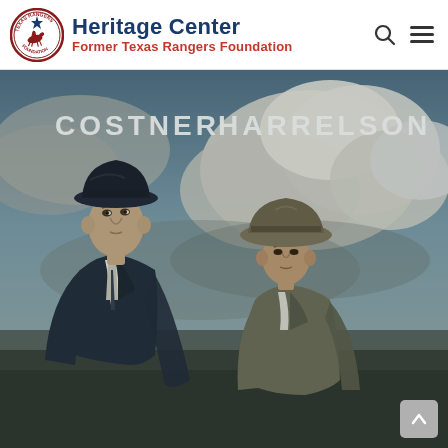Heritage Center — Former Texas Rangers Foundation
[Figure (photo): Movie poster for 'The Highwaymen' featuring actors Costner and Harrelson in period suits and fedora hats, standing back-to-back against a dramatic cloudy sky background. Text overlays read 'COSTNER' and 'HARRELSON' in large white letters at the top.]